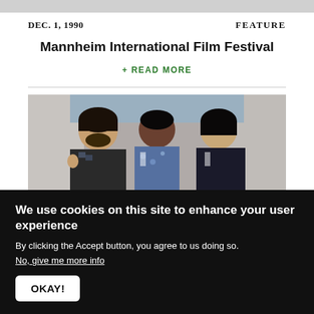[Figure (photo): Gray top bar image strip]
DEC. 1, 1990    FEATURE
Mannheim International Film Festival
+ READ MORE
[Figure (photo): Three people posing together for a photo, man on left giving thumbs up, woman in center, woman on right]
We use cookies on this site to enhance your user experience

By clicking the Accept button, you agree to us doing so.
No, give me more info

OKAY!